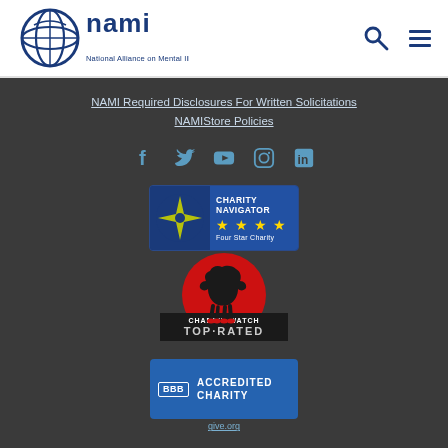[Figure (logo): NAMI logo - National Alliance on Mental Illness with circular globe icon in blue]
[Figure (logo): Search icon (magnifying glass) and hamburger menu icon in dark blue]
NAMI Required Disclosures For Written Solicitations
NAMIStore Policies
[Figure (infographic): Social media icons: Facebook, Twitter, YouTube, Instagram, LinkedIn in steel blue]
[Figure (logo): Charity Navigator Four Star Charity badge - blue badge with compass design and gold stars]
[Figure (logo): CharityWatch Top-Rated badge - red circle with dog silhouette and black banner]
[Figure (logo): BBB Accredited Charity badge - blue badge with BBB letters]
give.org